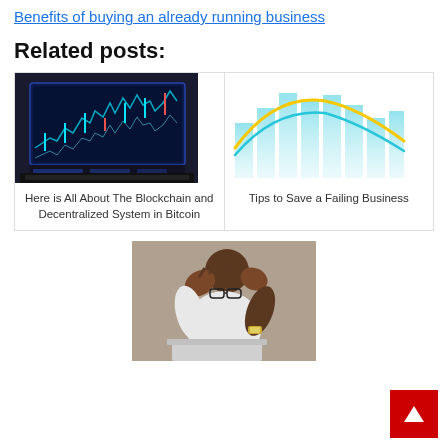Benefits of buying an already running business
Related posts:
[Figure (photo): Laptop screen displaying a blue cryptocurrency/stock market chart with candlestick patterns]
Here is All About The Blockchain and Decentralized System in Bitcoin
[Figure (bar-chart): Teal bar chart with yellow and teal curved overlay lines representing business performance data]
Tips to Save a Failing Business
[Figure (photo): A man in distress holding his head in his hands while sitting in front of a laptop]